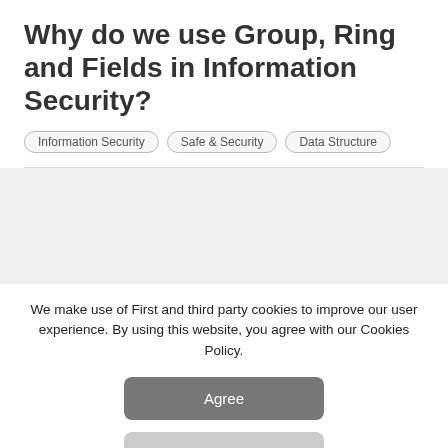Why do we use Group, Ring and Fields in Information Security?
Information Security
Safe & Security
Data Structure
We make use of First and third party cookies to improve our user experience. By using this website, you agree with our Cookies Policy.
Agree
Learn more